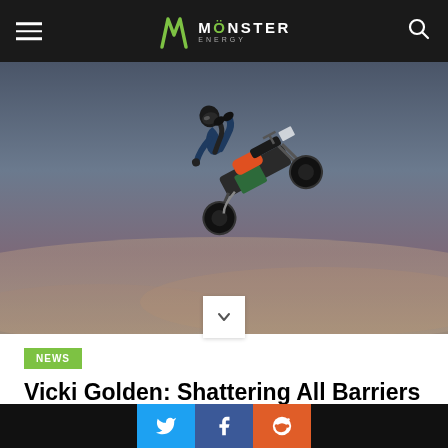Monster Energy
[Figure (photo): Motocross rider performing a dramatic trick high in the air against a twilight sky, with the motorcycle below and the rider airborne above it.]
NEWS
Vicki Golden: Shattering All Barriers in the World of Two Wheels
AUG 03  2019
Social share buttons: Twitter, Facebook, Reddit